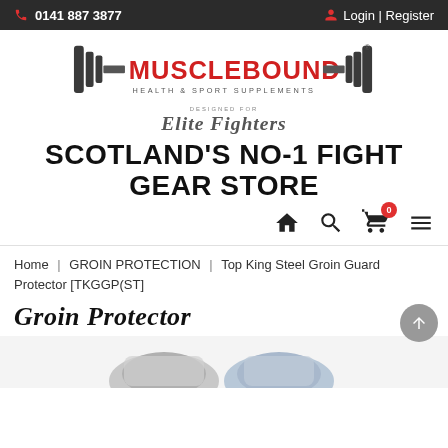0141 887 3877   Login | Register
[Figure (logo): Musclebound Health & Sport Supplements logo with dumbbell graphics and 'Designed for Elite Fighters' text underneath]
SCOTLAND'S NO-1 FIGHT GEAR STORE
[Figure (infographic): Navigation icons: home, search, cart (with 0 badge), hamburger menu]
Home | GROIN PROTECTION | Top King Steel Groin Guard Protector [TKGGP(ST]
Groin Protector
[Figure (photo): Partial bottom image of groin protector products]